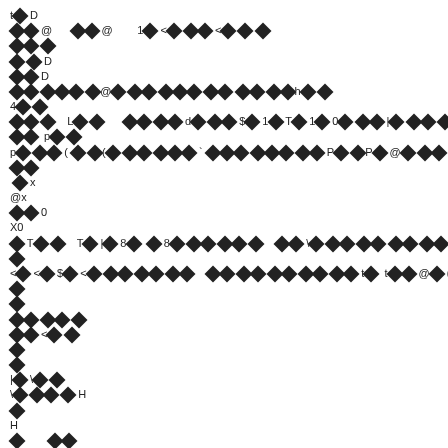t◆ D
◆◆ @    ◆◆ @      1◆ <◆ ◆◆ <◆ ◆ ◆
◆◆ ◆
◆ ◆ D
◆◆ D
◆◆ ◆◆◆ ◆@◆ ◆◆ ◆◆◆ ◆◆ ◆◆ ◆◆h◆ ◆
4◆ ◆
◆◆ ◆    L◆ ◆      ◆◆ ◆◆ d◆ ◆◆ $◆ 1◆ T◆ 1◆ 0◆ ◆◆ |◆ ◆◆ ◆◆ ◆◆ ◆◆
◆◆  p◆ ◆
p◆ ◆◆ ( ◆ ◆(◆ ◆◆ ◆◆◆ ` ◆◆◆ ◆◆◆ ◆◆ P◆ ◆P◆ @◆ ◆◆ p◆ ◆◆ ◆
◆◆
◆ x
@x
◆◆ 0
X0
◆ T◆ ◆    T◆ |◆ 8◆  ◆ 8◆ ◆◆ ◆◆ ◆    ◆◆ \◆ ◆◆ ◆◆ ◆◆ ◆◆
◆
<◆ <◆ $◆ <◆ ◆◆ ◆◆ ◆◆    ◆◆ ◆◆ ◆◆ ◆◆ ◆◆ t◆  t◆◆ @◆ (◆ @◆ ◆◆ , ◆  , ◆◆
◆
◆
◆◆ ◆◆ ◆
◆◆ <◆ ◆
◆
◆
|◆ \◆ ◆
\◆ ◆◆ ◆ H
◆
H
◆        ◆◆